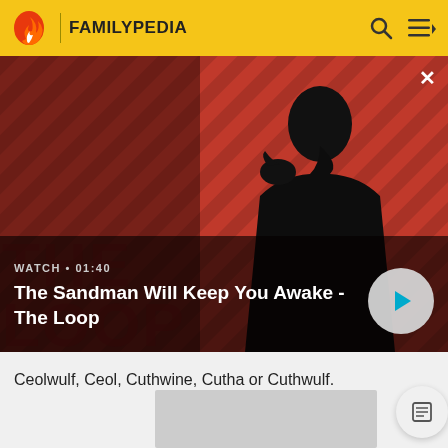FAMILYPEDIA
[Figure (screenshot): Video thumbnail for 'The Sandman Will Keep You Awake - The Loop' showing a dark-clad figure with a raven on their shoulder against a red diagonal striped background. Shows WATCH • 01:40 label and a play button.]
Ceolwulf, Ceol, Cuthwine, Cutha or Cuthwulf.